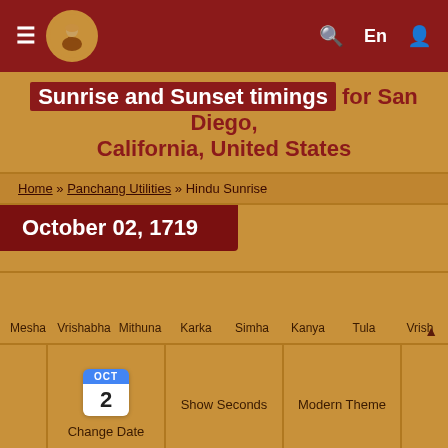≡  [logo]  🔍  En  👤
Sunrise and Sunset timings for San Diego, California, United States
Home » Panchang Utilities » Hindu Sunrise
October 02, 1719
Mesha  Vrishabha  Mithuna  Karka  Simha  Kanya  Tula  Vrish
Change Date  Show Seconds  Modern Theme